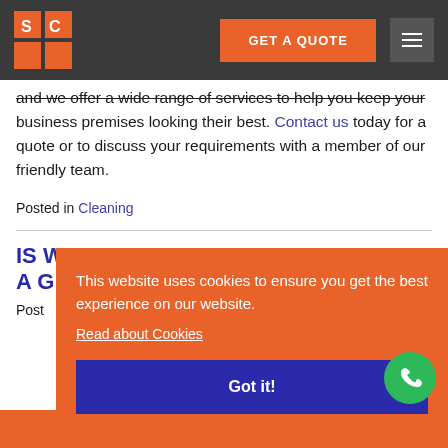SC [logo] | GET A QUOTE | [menu]
and we offer a wide range of services to help you keep your business premises looking their best. Contact us today for a quote or to discuss your requirements with a member of our friendly team.
Posted in Cleaning
IS W... A G... [next post title, partially visible]
Post...
This website uses cookies to ensure you get the best experience on our website.
Read about Cookies
Got it!